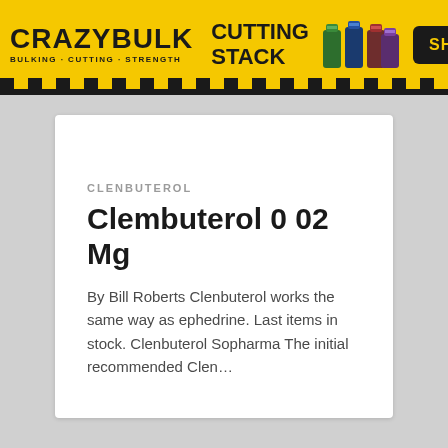[Figure (infographic): CrazyBulk Cutting Stack advertisement banner with yellow background, hazard stripe border, product bottles image, and SHOP NOW button]
CLENBUTEROL
Clembuterol 0 02 Mg
By Bill Roberts Clenbuterol works the same way as ephedrine. Last items in stock. Clenbuterol Sopharma The initial recommended Clen…